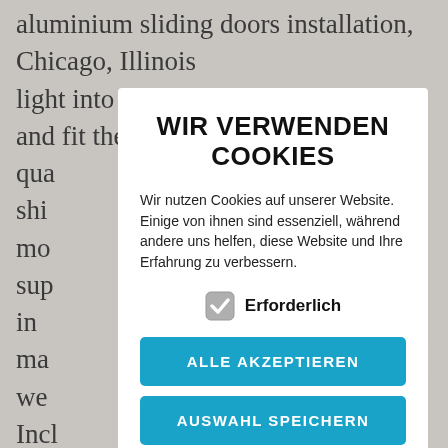aluminium sliding doors installation, Chicago, Illinois light into home. Manufacture, supply and fit the best qua... sing shi... ury mo... sup... rs in ma... s we... rs, Incl... pro... m you... s (... inst doc... e enjoying your new sliding! A new sliding door in no time you years of trouble free sliding space... Unusable for
[Figure (screenshot): Cookie consent modal dialog in German. Title: WIR VERWENDEN COOKIES. Body text: Wir nutzen Cookies auf unserer Website. Einige von ihnen sind essenziell, während andere uns helfen, diese Website und Ihre Erfahrung zu verbessern. Checkbox: Erforderlich. Two buttons: ALLE AKZEPTIEREN and AUSWAHL SPEICHERN.]